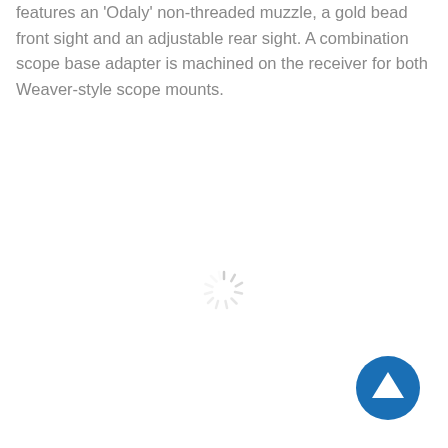features an 'Odaly' non-threaded muzzle, a gold bead front sight and an adjustable rear sight. A combination scope base adapter is machined on the receiver for both Weaver-style scope mounts.
[Figure (other): Loading spinner animation (radial spokes in light gray)]
[Figure (other): Back-to-top button: dark blue filled circle with white upward-pointing triangle/arrow in the center]